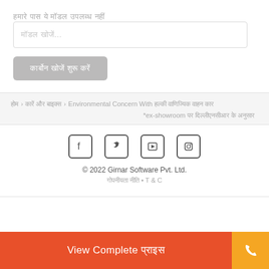हमारे पास ये मॉडल उपलब्ध नहीं
मॉडल खोजें...
कार्बोन खोजें शुरू करें
होम › कारें और बाइक्स › Environmental Concern With हल्की वाणिज्यिक वाहन कार
*ex-showroom पर दिल्लीएनसीआर के अनुसार
[Figure (other): Social media icons: Facebook, Twitter, YouTube, Instagram]
© 2022 Girnar Software Pvt. Ltd.
गोपनीयता नीति • T & C
View Complete प्राइस